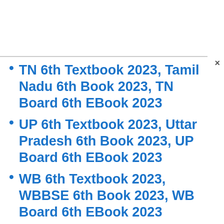TN 6th Textbook 2023, Tamil Nadu 6th Book 2023, TN Board 6th EBook 2023
UP 6th Textbook 2023, Uttar Pradesh 6th Book 2023, UP Board 6th EBook 2023
WB 6th Textbook 2023, WBBSE 6th Book 2023, WB Board 6th EBook 2023